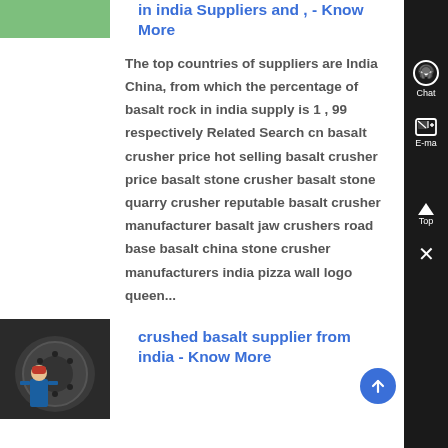[Figure (photo): Green thumbnail image at top left]
in india Suppliers and , - Know More
The top countries of suppliers are India China, from which the percentage of basalt rock in india supply is 1 , 99 respectively Related Search cn basalt crusher price hot selling basalt crusher price basalt stone crusher basalt stone quarry crusher reputable basalt crusher manufacturer basalt jaw crushers road base basalt china stone crusher manufacturers india pizza wall logo queen...
[Figure (photo): Photo of industrial machinery with worker in blue uniform and red helmet]
crushed basalt supplier from india - Know More